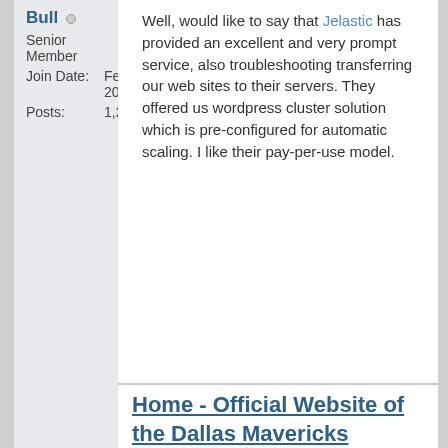Bull
Senior Member
Join Date: Feb 2009
Posts: 1,202
Well, would like to say that Jelastic has provided an excellent and very prompt service, also troubleshooting transferring our web sites to their servers. They offered us wordpress cluster solution which is pre-configured for automatic scaling. I like their pay-per-use model.
Home - Official Website of the Dallas Mavericks